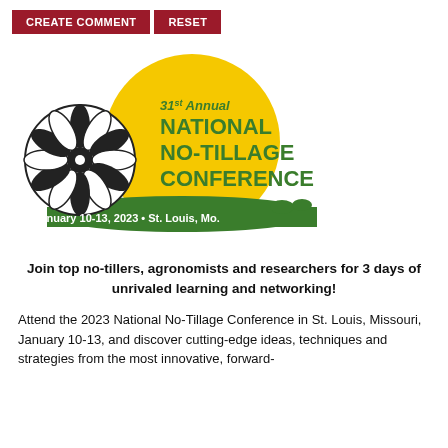CREATE COMMENT   RESET
[Figure (logo): 31st Annual National No-Tillage Conference logo with a black and white tillage wheel on the left, yellow sun circle background, green bold text reading NATIONAL NO-TILLAGE CONFERENCE, italic green text 31st Annual above, and a green banner at the bottom reading January 10-13, 2023 • St. Louis, Mo.]
Join top no-tillers, agronomists and researchers for 3 days of unrivaled learning and networking!
Attend the 2023 National No-Tillage Conference in St. Louis, Missouri, January 10-13, and discover cutting-edge ideas, techniques and strategies from the most innovative, forward-